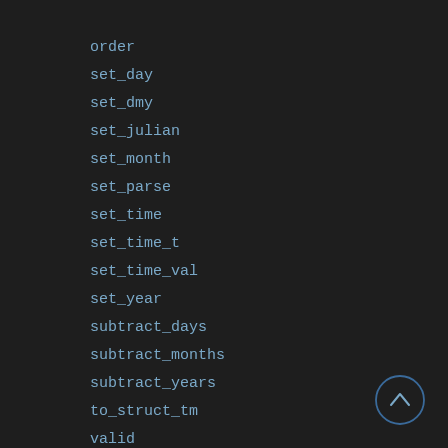order
set_day
set_dmy
set_julian
set_month
set_parse
set_time
set_time_t
set_time_val
set_year
subtract_days
subtract_months
subtract_years
to_struct_tm
valid